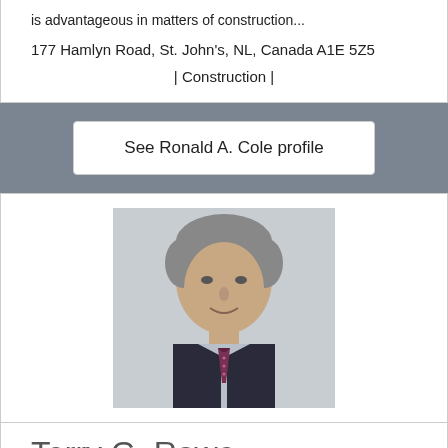is advantageous in matters of construction...
177 Hamlyn Road, St. John's, NL, Canada A1E 5Z5
| Construction |
See Ronald A. Cole profile
[Figure (photo): Professional headshot of a middle-aged man with grey hair, wearing a dark suit and patterned tie, smiling slightly against a light background.]
Terry G. Rowe